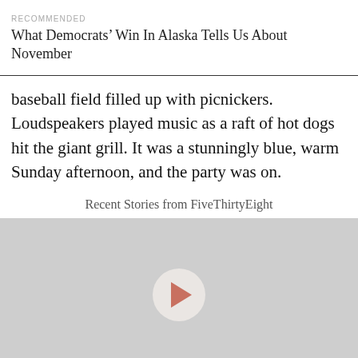RECOMMENDED
What Democrats’ Win In Alaska Tells Us About November
baseball field filled up with picnickers. Loudspeakers played music as a raft of hot dogs hit the giant grill. It was a stunningly blue, warm Sunday afternoon, and the party was on.
Recent Stories from FiveThirtyEight
[Figure (screenshot): Video player placeholder with gray background and a play button in the center]